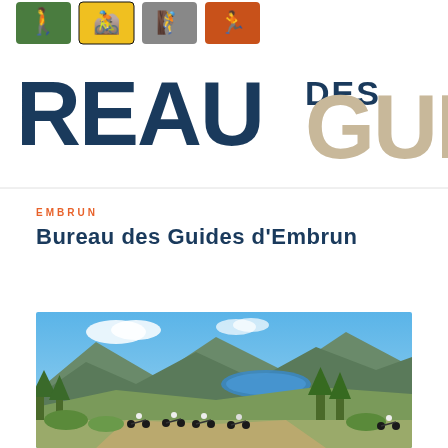[Figure (logo): Bureau des Guides logo banner with sport activity icons (hiking, cycling, climbing, etc.) and text 'REAU DES GUID' in large letters, partially cropped]
EMBRUN
Bureau des Guides d'Embrun
[Figure (photo): Mountain bikers riding on a dirt trail with alpine landscape, blue lake (Lac de Serre-Ponçon), mountains and trees in background under blue sky. Orange scroll-up button overlaid on lower right.]